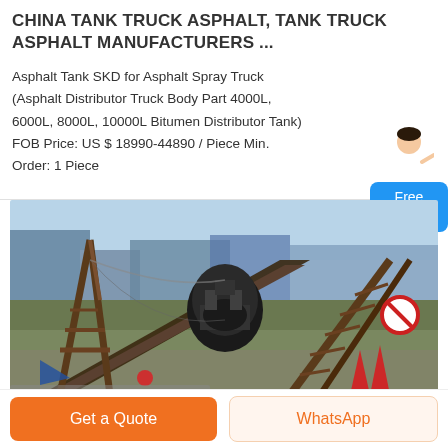CHINA TANK TRUCK ASPHALT, TANK TRUCK ASPHALT MANUFACTURERS ...
Asphalt Tank SKD for Asphalt Spray Truck (Asphalt Distributor Truck Body Part 4000L, 6000L, 8000L, 10000L Bitumen Distributor Tank) FOB Price: US $ 18990-44890 / Piece Min. Order: 1 Piece
[Figure (photo): Industrial conveyor belt machinery and heavy equipment at a construction or mining site, with steel framework structures, a large crusher or processing machine in the background, traffic cones and signs visible, and a blue industrial building in the background.]
Get a Quote
WhatsApp